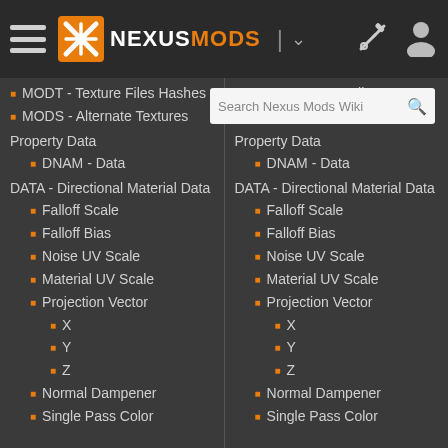NexusMods navigation bar with search
MODT - Texture Files Hashes
MODS - Alternate Textures
Property Data
DNAM - Data
DATA - Directional Material Data
Falloff Scale
Falloff Bias
Noise UV Scale
Material UV Scale
Projection Vector
X
Y
Z
Normal Dampener
Single Pass Color